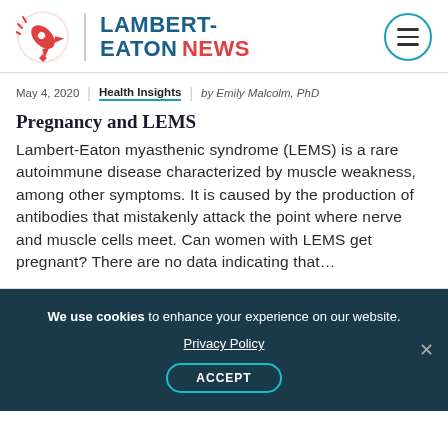[Figure (logo): Lambert-Eaton News logo with rocket/target icon in red and a hamburger menu circle button]
May 4, 2020 | Health Insights | by Emily Malcolm, PhD
Pregnancy and LEMS
Lambert-Eaton myasthenic syndrome (LEMS) is a rare autoimmune disease characterized by muscle weakness, among other symptoms. It is caused by the production of antibodies that mistakenly attack the point where nerve and muscle cells meet. Can women with LEMS get pregnant? There are no data indicating that...
We use cookies to enhance your experience on our website. Privacy Policy ACCEPT